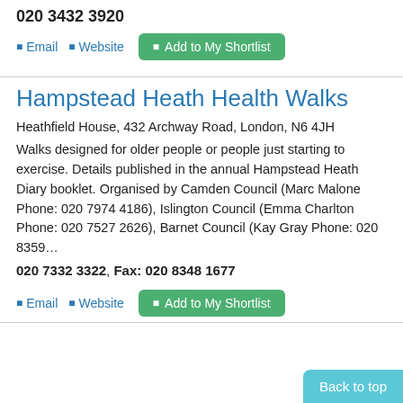020 3432 3920
Email  Website  Add to My Shortlist
Hampstead Heath Health Walks
Heathfield House, 432 Archway Road, London, N6 4JH
Walks designed for older people or people just starting to exercise. Details published in the annual Hampstead Heath Diary booklet. Organised by Camden Council (Marc Malone Phone: 020 7974 4186), Islington Council (Emma Charlton Phone: 020 7527 2626), Barnet Council (Kay Gray Phone: 020 8359…
020 7332 3322, Fax: 020 8348 1677
Email  Website  Add to My Shortlist
Back to top